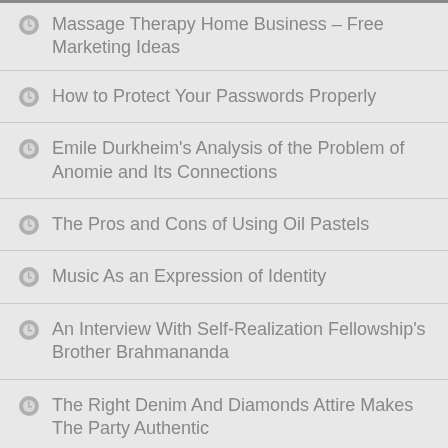Massage Therapy Home Business – Free Marketing Ideas
How to Protect Your Passwords Properly
Emile Durkheim's Analysis of the Problem of Anomie and Its Connections
The Pros and Cons of Using Oil Pastels
Music As an Expression of Identity
An Interview With Self-Realization Fellowship's Brother Brahmananda
The Right Denim And Diamonds Attire Makes The Party Authentic
Why Preliminary Designing Is Important in Leatherwork
Definition and Characteristics of Signs and Symbols